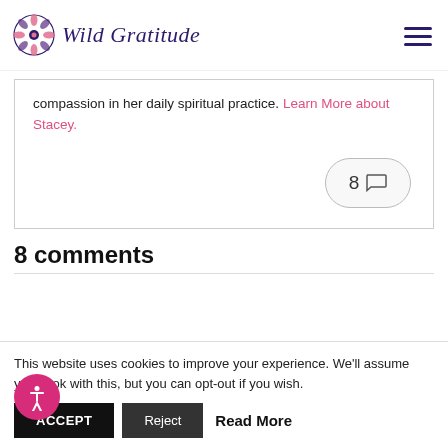Wild Gratitude
compassion in her daily spiritual practice. Learn More about Stacey.
[Figure (other): Comment count badge showing '8' with speech bubble icon]
8 comments
This website uses cookies to improve your experience. We'll assume you're ok with this, but you can opt-out if you wish.
ACCEPT | Reject | Read More